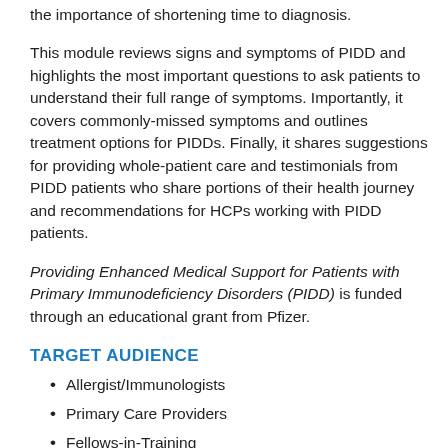the importance of shortening time to diagnosis.
This module reviews signs and symptoms of PIDD and highlights the most important questions to ask patients to understand their full range of symptoms. Importantly, it covers commonly-missed symptoms and outlines treatment options for PIDDs. Finally, it shares suggestions for providing whole-patient care and testimonials from PIDD patients who share portions of their health journey and recommendations for HCPs working with PIDD patients.
Providing Enhanced Medical Support for Patients with Primary Immunodeficiency Disorders (PIDD) is funded through an educational grant from Pfizer.
TARGET AUDIENCE
Allergist/Immunologists
Primary Care Providers
Fellows-in-Training